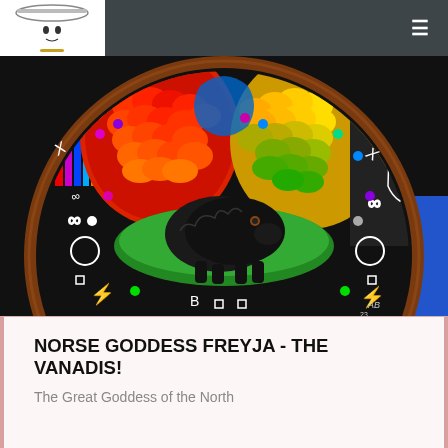Norse Goddess Freyja - The Vanadis! website header with logo and navigation menu
[Figure (illustration): Colorful circular mandala-style painting featuring a black boar/pig in the center on green grass, surrounded by a brown circular frame with white runic/symbolic markings, infinity symbols, gemstone decorations, and colorful scale-like patterns in red, orange, yellow, and green at the top. A black and white ghostly figure appears on the right side. Dark blue corners visible outside the circle. Artist signature visible at bottom right.]
NORSE GODDESS FREYJA - THE VANADIS!
The Great Goddess of the North